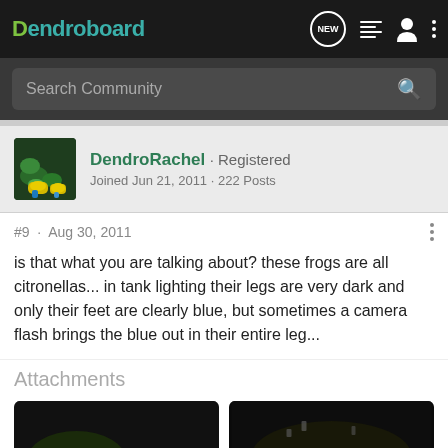Dendroboard
Search Community
DendroRachel · Registered
Joined Jun 21, 2011 · 222 Posts
#9 · Aug 30, 2011
is that what you are talking about? these frogs are all citronellas... in tank lighting their legs are very dark and only their feet are clearly blue, but sometimes a camera flash brings the blue out in their entire leg...
Attachments
[Figure (photo): Photo of yellow dart frogs (citronellas) among dark substrate and green plants]
[Figure (photo): Photo of yellow dart frogs (citronellas) on rocky/mossy substrate]